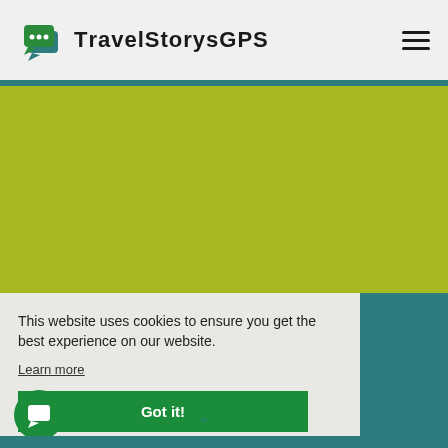[Figure (logo): TravelStorysGPS logo with green chat bubble icon and bold sans-serif text]
[Figure (illustration): Yellow-green hero banner area]
This website uses cookies to ensure you get the best experience on our website.
Learn more
Got it!